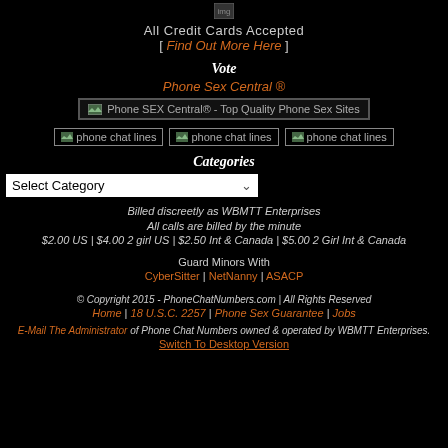[Figure (other): Small image placeholder at top center]
All Credit Cards Accepted
[ Find Out More Here ]
Vote
Phone Sex Central ®
[Figure (other): Phone SEX Central® - Top Quality Phone Sex Sites banner image]
[Figure (other): Three phone chat lines image boxes in a row]
Categories
Select Category (dropdown)
Billed discreetly as WBMTT Enterprises
All calls are billed by the minute
$2.00 US | $4.00 2 girl US | $2.50 Int & Canada | $5.00 2 Girl Int & Canada
Guard Minors With
CyberSitter | NetNanny | ASACP
© Copyright 2015 - PhoneChatNumbers.com | All Rights Reserved
Home | 18 U.S.C. 2257 | Phone Sex Guarantee | Jobs
E-Mail The Administrator of Phone Chat Numbers owned & operated by WBMTT Enterprises.
Switch To Desktop Version